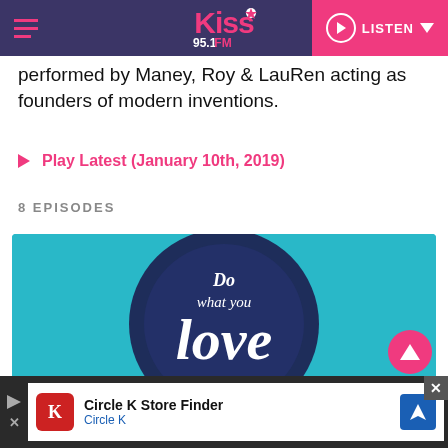Kiss 95.1 FM — LISTEN
performed by Maney, Roy & LauRen acting as founders of modern inventions.
Play Latest (January 10th, 2019)
8 EPISODES
[Figure (illustration): Teal/turquoise background with a dark navy circle badge containing cursive/script text: 'Do what you love' — stylized retro typography in white with 'Do' and 'what you' in smaller cursive, and 'love' in large script.]
[Figure (screenshot): Advertisement banner for Circle K Store Finder app — dark background with white inner panel showing red Circle K logo, text 'Circle K Store Finder' and 'Circle K', blue navigation/map icon on right, close button top right.]